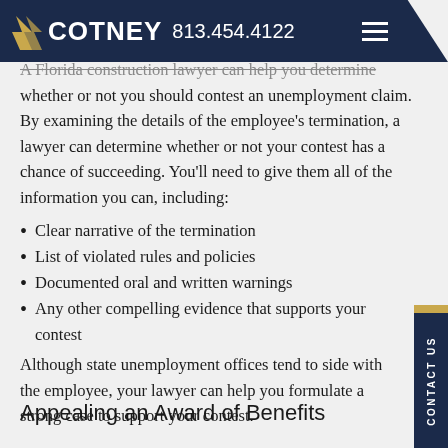COTNEY 813.454.4122
A Florida construction lawyer can help you determine whether or not you should contest an unemployment claim. By examining the details of the employee's termination, a lawyer can determine whether or not your contest has a chance of succeeding. You'll need to give them all of the information you can, including:
Clear narrative of the termination
List of violated rules and policies
Documented oral and written warnings
Any other compelling evidence that supports your contest
Although state unemployment offices tend to side with the employee, your lawyer can help you formulate a strong case to support your contest.
Appealing an Award of Benefits
In some cases, benefits may be awarded to an ex-employee who was fired on the basis of misconduct.